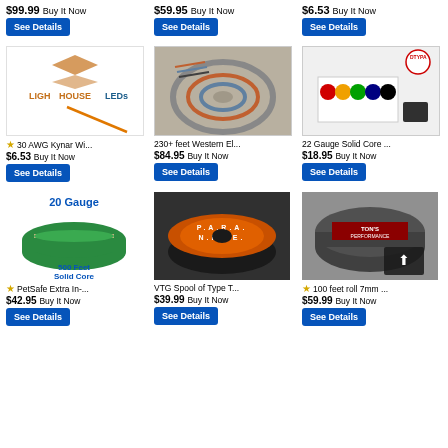$99.99 Buy It Now
$59.95 Buy It Now
$6.53 Buy It Now
[Figure (photo): LighthouseLEDs logo with orange wire - 30 AWG Kynar Wire listing]
30 AWG Kynar Wi... $6.53 Buy It Now
[Figure (photo): 230+ feet Western Electric wire coiled bundle]
230+ feet Western El... $84.95 Buy It Now
[Figure (photo): 22 Gauge Solid Core wire spools set in white box]
22 Gauge Solid Core ... $18.95 Buy It Now
[Figure (photo): 20 Gauge 500 Feet Solid Core green wire spool - PetSafe listing]
PetSafe Extra In-... $42.95 Buy It Now
[Figure (photo): VTG Spool of Type T wire - Paranite brand orange label]
VTG Spool of Type T... $39.99 Buy It Now
[Figure (photo): 100 feet roll 7mm wire - Ton's Performance brand]
100 feet roll 7mm ... $59.99 Buy It Now